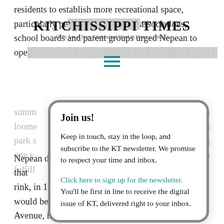residents to establish more recreational space, particularly perhaps... associations, school boards and parent groups urged Nepean to ope...
KITCHISSIPPI TIMES
100% Local from Kitchissippi Ward in Ottawa, Ontario
[Figure (other): Hamburger/menu icon with three horizontal teal lines]
Join us!

Keep in touch, stay in the loop, and subscribe to the KT newsletter. We promise to respect your time and inbox.

Click here to sign up for the newsletter. You'll be first in line to receive the digital issue of KT, delivered right to your inbox.
Nepean did not materialize and, perhaps in lieu of that rink, in 1946 it was announced that a park and rink would be established at the end of Elmgrove Avenue, in